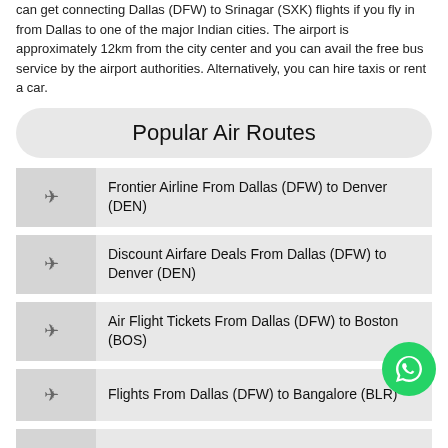can get connecting Dallas (DFW) to Srinagar (SXK) flights if you fly in from Dallas to one of the major Indian cities. The airport is approximately 12km from the city center and you can avail the free bus service by the airport authorities. Alternatively, you can hire taxis or rent a car.
Popular Air Routes
Frontier Airline From Dallas (DFW) to Denver (DEN)
Discount Airfare Deals From Dallas (DFW) to Denver (DEN)
Air Flight Tickets From Dallas (DFW) to Boston (BOS)
Flights From Dallas (DFW) to Bangalore (BLR)
Us Airways From Dallas (DFW) to Charlotte (CLT)
Book Flights From New York (JFK) to Srinagar (
...